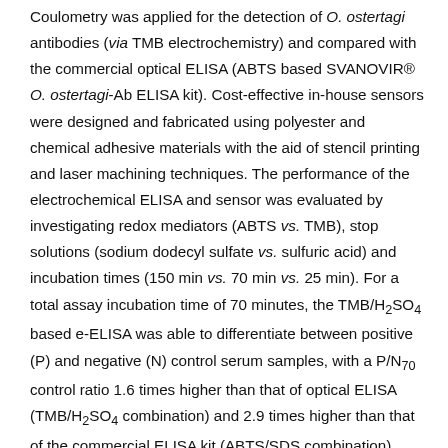Coulometry was applied for the detection of O. ostertagi antibodies (via TMB electrochemistry) and compared with the commercial optical ELISA (ABTS based SVANOVIR® O. ostertagi-Ab ELISA kit). Cost-effective in-house sensors were designed and fabricated using polyester and chemical adhesive materials with the aid of stencil printing and laser machining techniques. The performance of the electrochemical ELISA and sensor was evaluated by investigating redox mediators (ABTS vs. TMB), stop solutions (sodium dodecyl sulfate vs. sulfuric acid) and incubation times (150 min vs. 70 min vs. 25 min). For a total assay incubation time of 70 minutes, the TMB/H₂SO₄ based e-ELISA was able to differentiate between positive (P) and negative (N) control serum samples, with a P/N₇₀ control ratio 1.6 times higher than that of optical ELISA (TMB/H₂SO₄ combination) and 2.9 times higher than that of the commercial ELISA kit (ABTS/SDS combination). Furthermore, the e-ELISA approach is quicker and required only 25 min (total incubation time) with even better response (P/N₂₅ = 14.7), which is approximately 4-fold higher